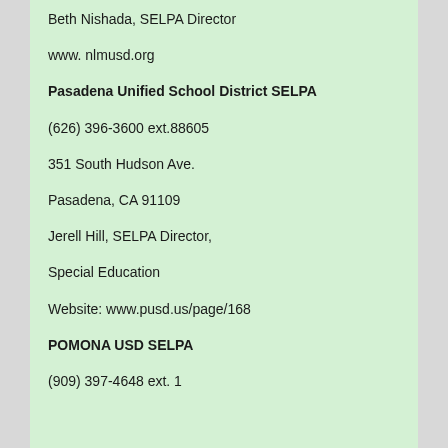Beth Nishada, SELPA Director
www. nlmusd.org
Pasadena Unified School District SELPA
(626) 396-3600 ext.88605
351 South Hudson Ave.
Pasadena, CA 91109
Jerell Hill, SELPA Director,
Special Education
Website: www.pusd.us/page/168
POMONA USD SELPA
(909) 397-4648 ext. 1